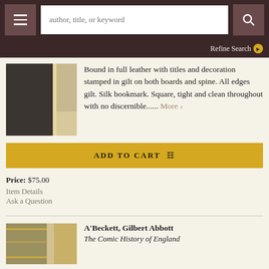author, title, or keyword | Refine Search
Bound in full leather with titles and decoration stamped in gilt on both boards and spine. All edges gilt. Silk bookmark. Square, tight and clean throughout with no discernible...... More >
ADD TO CART
Price: $75.00
Item Details
Ask a Question
A'Beckett, Gilbert Abbott
The Comic History of England